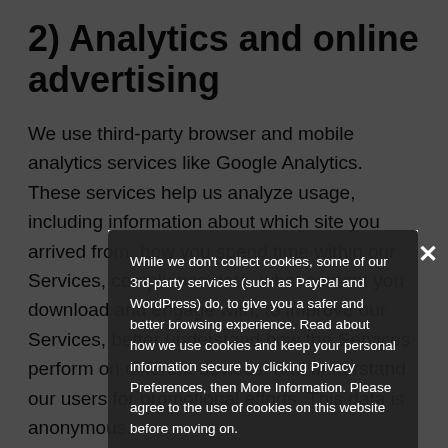2) Analytics and online advertising
We use third-party browser and mobile analytics services like Google Analytics. These services help us analyze usage, including information about which site you arrived from, how you spend time within our Services, compliance data, what content you download and engage with, to improve our Services, better understand how the Services perform on different devices, and understand our users for promotional efforts. This data is anonymous.
While we don't collect cookies, some of our 3rd-party services (such as PayPal and WordPress) do, to give you a safer and better browsing experience. Read about how we use cookies and keep your personal information secure by clicking Privacy Preferences, then More Information. Please agree to the use of cookies on this website before moving on.
❯ Privacy Preferences
I Agree